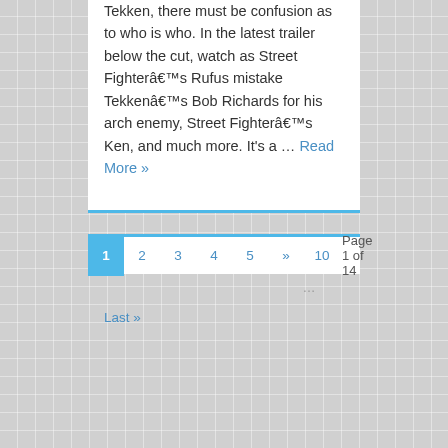Tekken, there must be confusion as to who is who. In the latest trailer below the cut, watch as Street Fighter’s Rufus mistake Tekken’s Bob Richards for his arch enemy, Street Fighter’s Ken, and much more. It’s a ... Read More »
1 2 3 4 5 » 10 Page 1 of 14
...
Last »